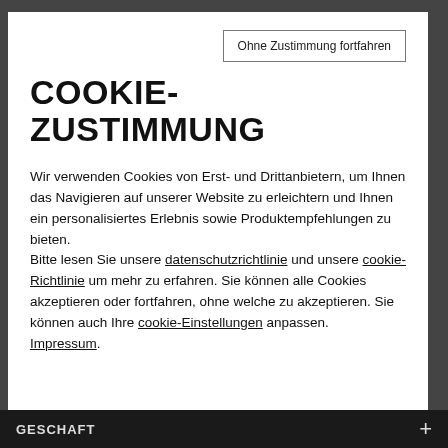Ohne Zustimmung fortfahren
COOKIE-ZUSTIMMUNG
Wir verwenden Cookies von Erst- und Drittanbietern, um Ihnen das Navigieren auf unserer Website zu erleichtern und Ihnen ein personalisiertes Erlebnis sowie Produktempfehlungen zu bieten.
Bitte lesen Sie unsere datenschutzrichtlinie und unsere cookie-Richtlinie um mehr zu erfahren. Sie können alle Cookies akzeptieren oder fortfahren, ohne welche zu akzeptieren. Sie können auch Ihre cookie-Einstellungen anpassen.
Impressum.
GESCHAFT +